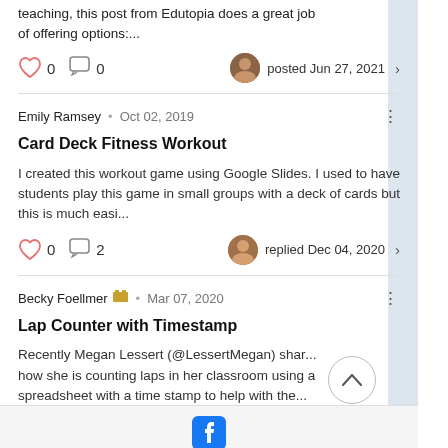teaching, this post from Edutopia does a great job of offering options:...
0  0  posted Jun 27, 2021
Emily Ramsey · Oct 02, 2019
Card Deck Fitness Workout
I created this workout game using Google Slides. I used to have students play this game in small groups with a deck of cards but this is much easi...
0  2  replied Dec 04, 2020
Becky Foellmer · Mar 07, 2020
Lap Counter with Timestamp
Recently Megan Lessert (@LessertMegan) shar... how she is counting laps in her classroom using a spreadsheet with a time stamp to help with the...
Facebook